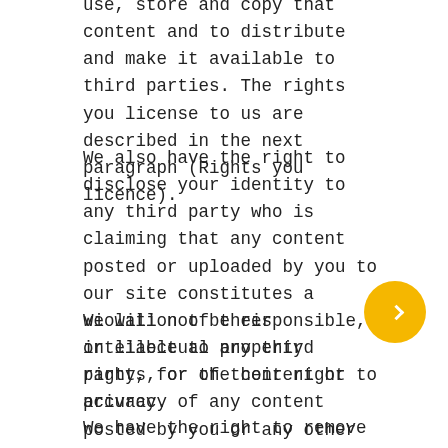use, store and copy that content and to distribute and make it available to third parties. The rights you license to us are described in the next paragraph (Rights you licence).
We also have the right to disclose your identity to any third party who is claiming that any content posted or uploaded by you to our site constitutes a violation of their intellectual property rights, or of their right to privacy.
We will not be responsible, or liable to any third party, for the content or accuracy of any content posted by you or any other user of our site.
We have the right to remove any